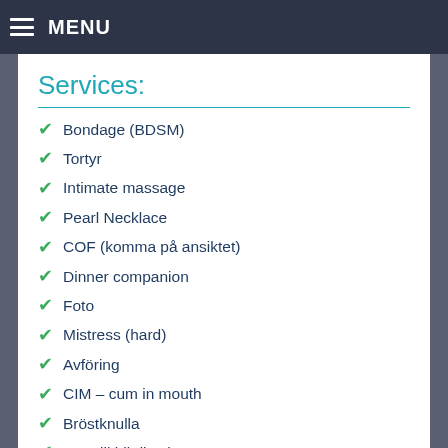MENU
Services:
Bondage (BDSM)
Tortyr
Intimate massage
Pearl Necklace
COF (komma på ansiktet)
Dinner companion
Foto
Mistress (hard)
Avföring
CIM – cum in mouth
Bröstknulla
Jag vill bli din slav
French Kissing